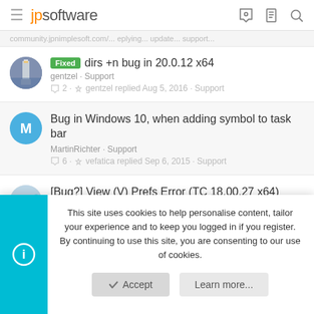jpsoftware
...community.jpnimplesoft.com/... replying... update... support...
Fixed dirs +n bug in 20.0.12 x64
gentzel · Support
2 · gentzel replied Aug 5, 2016 · Support
Bug in Windows 10, when adding symbol to task bar
MartinRichter · Support
6 · vefatica replied Sep 6, 2015 · Support
[Bug?] View (V) Prefs Error (TC 18.00.27 x64)
This site uses cookies to help personalise content, tailor your experience and to keep you logged in if you register.
By continuing to use this site, you are consenting to our use of cookies.